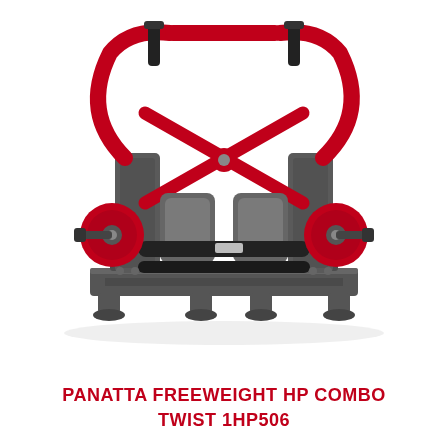[Figure (photo): A red and dark grey Panatta Freeweight HP Combo Twist 1HP506 exercise machine. The machine features a large red curved frame structure with black handles at the top, dual red weight plate holders on the sides, a padded seat/back support area in the center, black foam rollers for legs, and a rectangular dark grey base frame with rubber floor feet.]
PANATTA FREEWEIGHT HP COMBO TWIST 1HP506